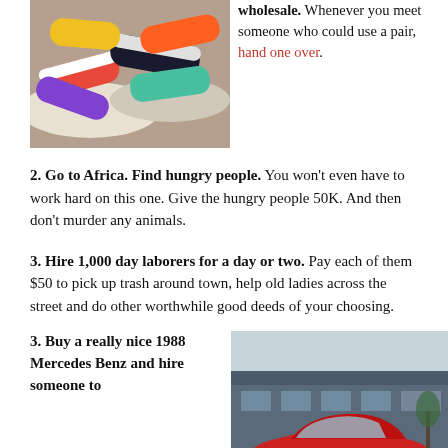[Figure (photo): Pile of colorful sneakers/athletic shoes]
wholesale. Whenever you meet someone who could use a pair, hand one over.
2. Go to Africa. Find hungry people. You won't even have to work hard on this one. Give the hungry people 50K. And then don't murder any animals.
3. Hire 1,000 day laborers for a day or two. Pay each of them $50 to pick up trash around town, help old ladies across the street and do other worthwhile good deeds of your choosing.
3. Buy a really nice 1988 Mercedes Benz and hire someone to
[Figure (photo): Red 1988 Mercedes Benz coupe parked in front of a building]